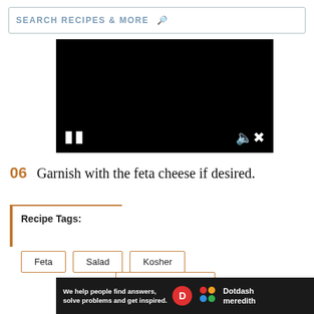SEARCH RECIPES & MORE
[Figure (screenshot): Black video player with pause button on left and muted speaker icon on right]
06  Garnish with the feta cheese if desired.
Recipe Tags:
Feta   Salad   Kosher
[Figure (infographic): Dotdash Meredith advertisement banner: We help people find answers, solve problems and get inspired.]